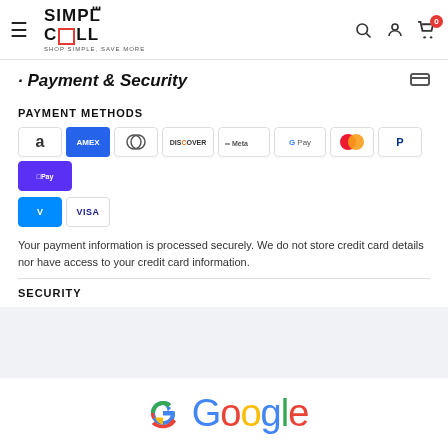[Figure (logo): Simple Cell logo with hamburger menu and navigation icons including search, account, and cart (badge showing 0)]
Payment & Security
PAYMENT METHODS
[Figure (illustration): Payment method icons: Amazon, Amex, Diners Club, Discover, Meta Pay, Google Pay, Mastercard, PayPal, Shop Pay, Venmo, Visa]
Your payment information is processed securely. We do not store credit card details nor have access to your credit card information.
SECURITY
[Figure (logo): Google logo at the bottom of the page]